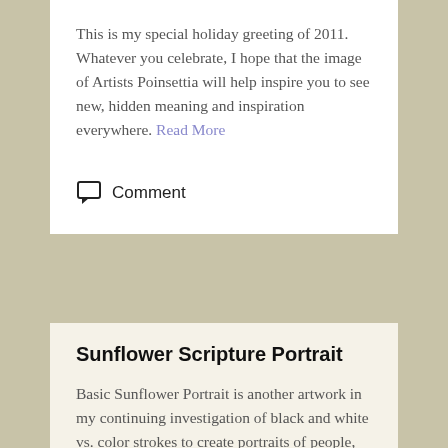This is my special holiday greeting of 2011. Whatever you celebrate, I hope that the image of Artists Poinsettia will help inspire you to see new, hidden meaning and inspiration everywhere. Read More
Comment
Sunflower Scripture Portrait
Basic Sunflower Portrait is another artwork in my continuing investigation of black and white vs. color strokes to create portraits of people, places,